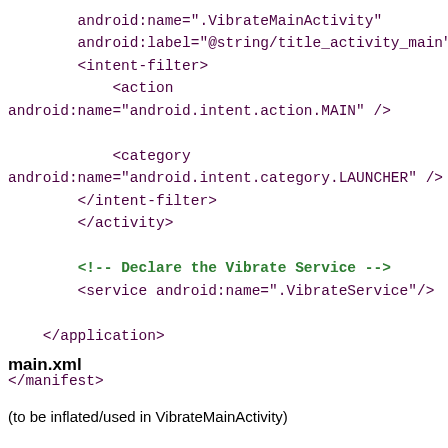android:name=".VibrateMainActivity"
        android:label="@string/title_activity_main" >
        <intent-filter>
            <action
android:name="android.intent.action.MAIN" />

            <category
android:name="android.intent.category.LAUNCHER" />
        </intent-filter>
        </activity>

        <!-- Declare the Vibrate Service -->
        <service android:name=".VibrateService"/>

    </application>

</manifest>
main.xml
(to be inflated/used in VibrateMainActivity)